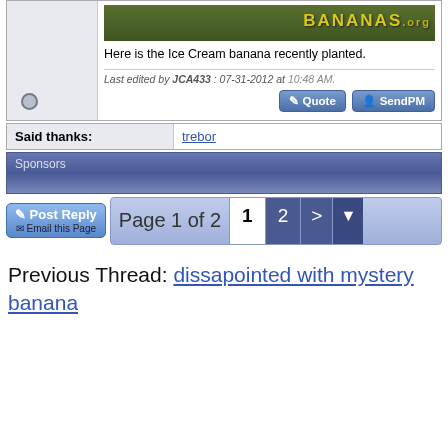[Figure (screenshot): Forum post section showing a bananas.org banner image, post text about Ice Cream banana, edit timestamp, Quote and SendPM buttons, offline status indicator]
Here is the Ice Cream banana recently planted.
Last edited by JCA433 : 07-31-2012 at 10:48 AM.
Said thanks:
trebor
Sponsors
Post Reply
Email this Page
Page 1 of 2  1  2  >
Previous Thread: dissapointed with mystery banana